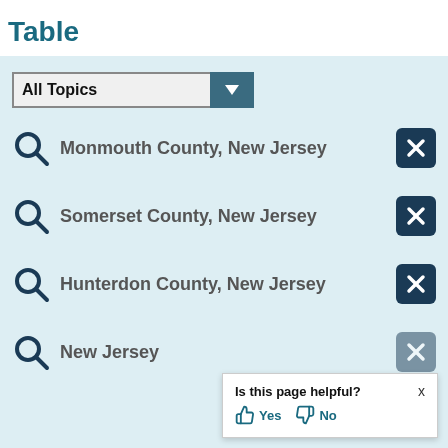Table
All Topics (dropdown)
Monmouth County, New Jersey
Somerset County, New Jersey
Hunterdon County, New Jersey
New Jersey
Is this page helpful? Yes No